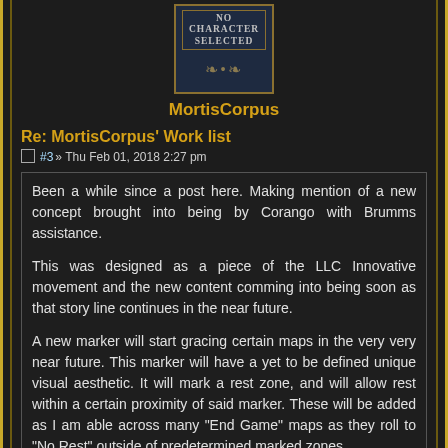[Figure (illustration): Avatar placeholder showing 'No Character Selected' text in a decorative blue-tinted frame with ornamental scroll design]
MortisCorpus
Re: MortisCorpus' Work list
#3 » Thu Feb 01, 2018 2:27 pm
Been a while since a post here. Making mention of a new concept brought into being by Corango with Brumms assistance.

This was designed as a piece of the LLC Innovative movement and the new content comming into being soon as that story line continues in the near future.

A new marker will start gracing certain maps in the very very near future. This marker will have a yet to be defined unique visual aesthetic. It will mark a rest zone, and will allow rest within a certain proximity of said marker. These will be added as I am able across many “End Game” maps as they roll to “No Rest” outside of predetermined marked zones.

You have been warned. I will of course commit details on any map moving towards this system. I will also provide